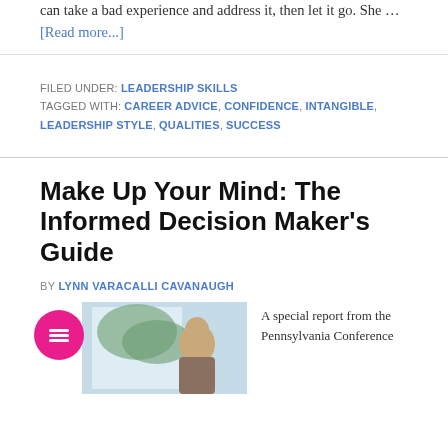can take a bad experience and address it, then let it go. She … [Read more...]
FILED UNDER: LEADERSHIP SKILLS
TAGGED WITH: CAREER ADVICE, CONFIDENCE, INTANGIBLE, LEADERSHIP STYLE, QUALITIES, SUCCESS
Make Up Your Mind: The Informed Decision Maker's Guide
BY LYNN VARACALLI CAVANAUGH
[Figure (photo): Person sitting near a window, blurred background]
A special report from the Pennsylvania Conference